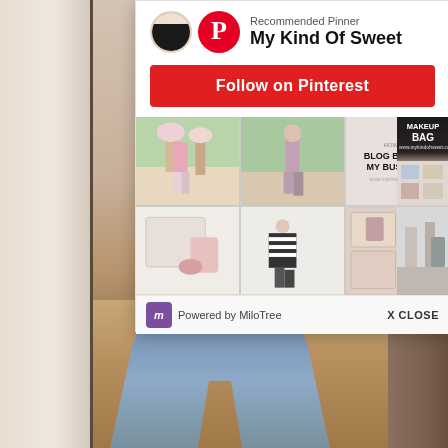[Figure (screenshot): A Pinterest popup widget overlay on top of a photo of a person's legs wearing ripped jeans in a room with wood floors and closet/mirror. The popup shows 'Recommended Pinner – My Kind Of Sweet', a red 'Follow on Pinterest' button, a grid of fashion/lifestyle photos, and a 'Powered by MiloTree' footer with an 'X CLOSE' option.]